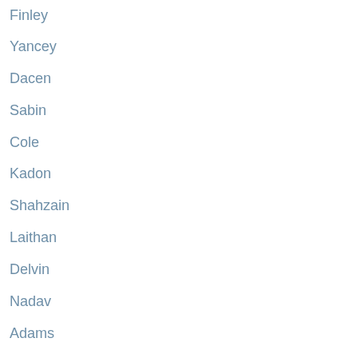Finley
Yancey
Dacen
Sabin
Cole
Kadon
Shahzain
Laithan
Delvin
Nadav
Adams